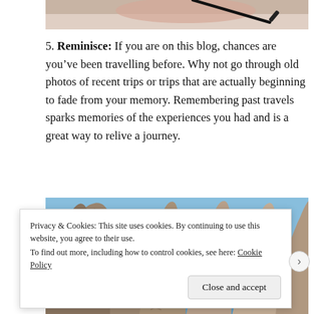[Figure (photo): Partial view of a photo showing a hand holding a pen, writing on paper — cropped at top of page]
5. Reminisce: If you are on this blog, chances are you've been travelling before. Why not go through old photos of recent trips or trips that are actually beginning to fade from your memory. Remembering past travels sparks memories of the experiences you had and is a great way to relive a journey.
[Figure (photo): Photo of tall rocky fairy chimney formations (likely Cappadocia, Turkey) against a clear blue sky]
Privacy & Cookies: This site uses cookies. By continuing to use this website, you agree to their use.
To find out more, including how to control cookies, see here: Cookie Policy
Close and accept